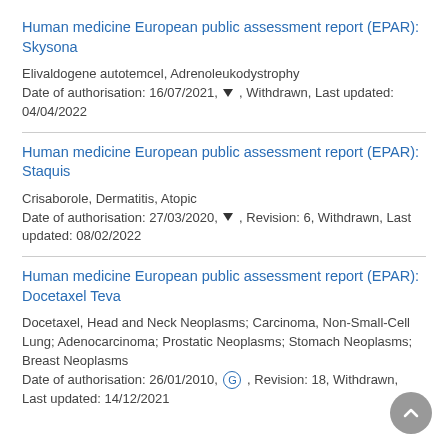Human medicine European public assessment report (EPAR): Skysona
Elivaldogene autotemcel, Adrenoleukodystrophy
Date of authorisation: 16/07/2021, ▼ , Withdrawn, Last updated: 04/04/2022
Human medicine European public assessment report (EPAR): Staquis
Crisaborole, Dermatitis, Atopic
Date of authorisation: 27/03/2020, ▼ , Revision: 6, Withdrawn, Last updated: 08/02/2022
Human medicine European public assessment report (EPAR): Docetaxel Teva
Docetaxel, Head and Neck Neoplasms; Carcinoma, Non-Small-Cell Lung; Adenocarcinoma; Prostatic Neoplasms; Stomach Neoplasms; Breast Neoplasms
Date of authorisation: 26/01/2010, G , Revision: 18, Withdrawn, Last updated: 14/12/2021